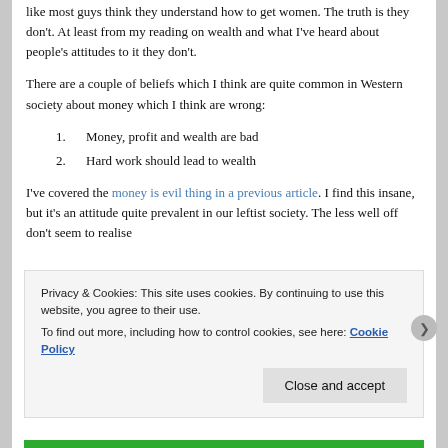like most guys think they understand how to get women. The truth is they don't. At least from my reading on wealth and what I've heard about people's attitudes to it they don't.
There are a couple of beliefs which I think are quite common in Western society about money which I think are wrong:
1. Money, profit and wealth are bad
2. Hard work should lead to wealth
I've covered the money is evil thing in a previous article. I find this insane, but it's an attitude quite prevalent in our leftist society. The less well off don't seem to realise
Privacy & Cookies: This site uses cookies. By continuing to use this website, you agree to their use.
To find out more, including how to control cookies, see here: Cookie Policy